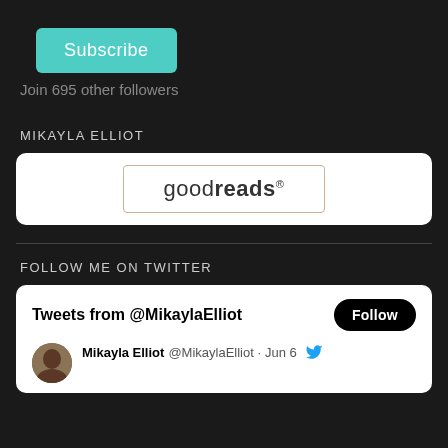[Figure (other): Subscribe button with teal/turquoise background and white text]
Join 695 other followers
MIKAYLA ELLIOT
[Figure (logo): Goodreads logo inside a bordered card with white background]
FOLLOW ME ON TWITTER
[Figure (screenshot): Twitter widget showing Tweets from @MikaylaElliot with Follow button and tweet by Mikayla Elliot @MikaylaElliot on Jun 6]